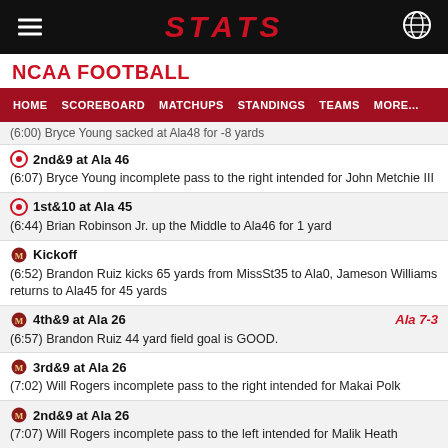STATS
NCAA FOOTBALL
HOME  SCOREBOARD  MATCHUPS  STANDINGS  TEAMS  MORE...
(6:00) Bryce Young sacked at Ala48 for -8 yards
2nd&9 at Ala 46 | (6:07) Bryce Young incomplete pass to the right intended for John Metchie III
1st&10 at Ala 45 | (6:44) Brian Robinson Jr. up the Middle to Ala46 for 1 yard
Kickoff | (6:52) Brandon Ruiz kicks 65 yards from MissSt35 to Ala0, Jameson Williams returns to Ala45 for 45 yards
4th&9 at Ala 26 | Ala 7-3 | (6:57) Brandon Ruiz 44 yard field goal is GOOD.
3rd&9 at Ala 26 | (7:02) Will Rogers incomplete pass to the right intended for Makai Polk
2nd&9 at Ala 26 | (7:07) Will Rogers incomplete pass to the left intended for Malik Heath